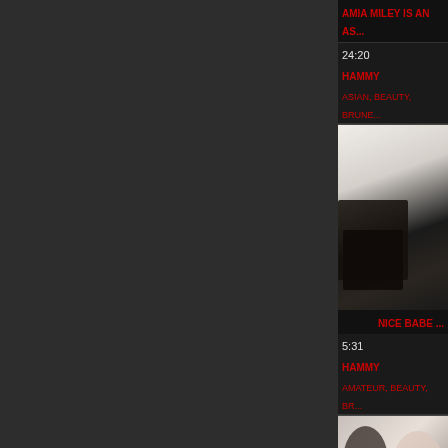AMIA MILEY IS AN AS...
24:20
HAMMY
ASIAN, BEAUTY, BRUNE...
[Figure (photo): Video thumbnail showing a person in black lingerie]
NICE BABE ...
5:31
HAMMY
AMATEUR, BEAUTY, BR...
[Figure (photo): Video thumbnail showing two women]